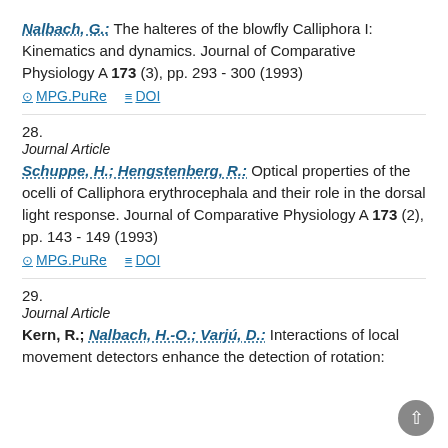Nalbach, G.: The halteres of the blowfly Calliphora I: Kinematics and dynamics. Journal of Comparative Physiology A 173 (3), pp. 293 - 300 (1993) MPG.PuRe DOI
28. Journal Article Schuppe, H.; Hengstenberg, R.: Optical properties of the ocelli of Calliphora erythrocephala and their role in the dorsal light response. Journal of Comparative Physiology A 173 (2), pp. 143 - 149 (1993) MPG.PuRe DOI
29. Journal Article Kern, R.; Nalbach, H.-O.; Varjú, D.: Interactions of local movement detectors enhance the detection of rotation: